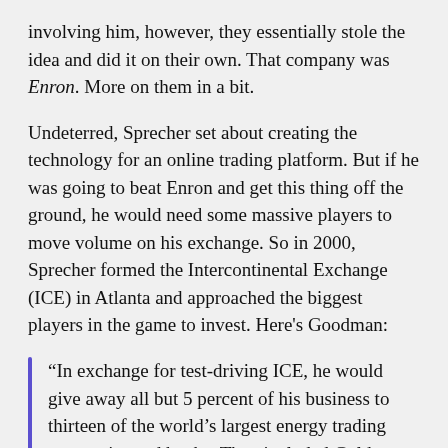involving him, however, they essentially stole the idea and did it on their own. That company was Enron. More on them in a bit.
Undeterred, Sprecher set about creating the technology for an online trading platform. But if he was going to beat Enron and get this thing off the ground, he would need some massive players to move volume on his exchange. So in 2000, Sprecher formed the Intercontinental Exchange (ICE) in Atlanta and approached the biggest players in the game to invest. Here's Goodman:
“In exchange for test-driving ICE, he would give away all but 5 percent of his business to thirteen of the world’s largest energy trading companies and banks. They included Goldman Sachs, arguably the